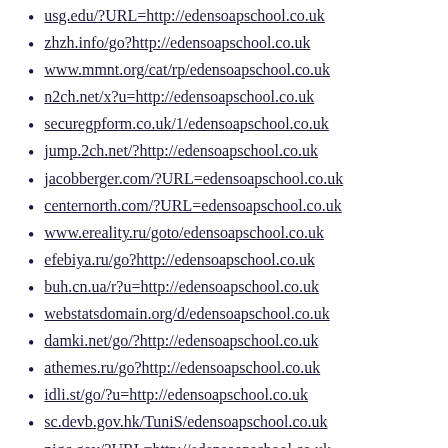usg.edu/?URL=http://edensoapschool.co.uk
zhzh.info/go?http://edensoapschool.co.uk
www.mmnt.org/cat/rp/edensoapschool.co.uk
n2ch.net/x?u=http://edensoapschool.co.uk
securegpform.co.uk/1/edensoapschool.co.uk
jump.2ch.net/?http://edensoapschool.co.uk
jacobberger.com/?URL=edensoapschool.co.uk
centernorth.com/?URL=edensoapschool.co.uk
www.ereality.ru/goto/edensoapschool.co.uk
efebiya.ru/go?http://edensoapschool.co.uk
buh.cn.ua/r?u=http://edensoapschool.co.uk
webstatsdomain.org/d/edensoapschool.co.uk
damki.net/go/?http://edensoapschool.co.uk
athemes.ru/go?http://edensoapschool.co.uk
idli.st/go/?u=http://edensoapschool.co.uk
sc.devb.gov.hk/TuniS/edensoapschool.co.uk
nigc.gov/?URL=http://edensoapschool.co.uk
anonim.co.ro/?http://edensoapschool.co.uk
bios.edu/?URL=http://edensoapschool.co.uk